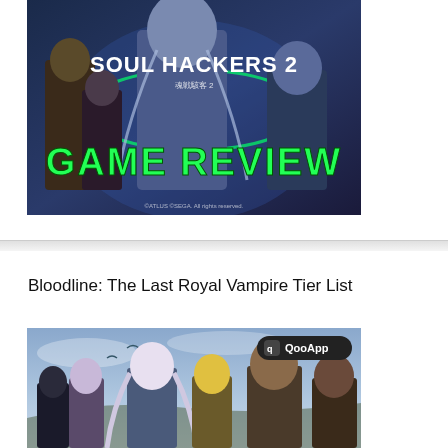[Figure (illustration): Soul Hackers 2 game review promotional image with anime characters and green GAME REVIEW text]
Bloodline: The Last Royal Vampire Tier List
[Figure (illustration): Bloodline: The Last Royal Vampire game artwork showing anime-style characters with QooApp watermark]